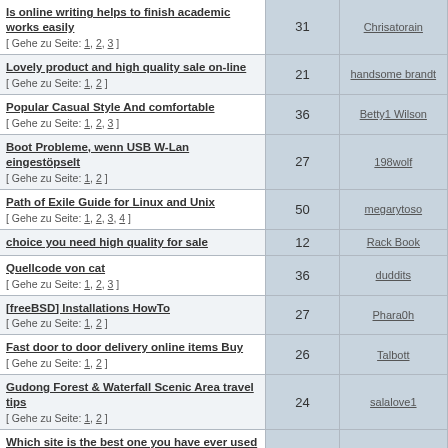| Topic | Replies | Author |
| --- | --- | --- |
| Is online writing helps to finish academic works easily
[ Gehe zu Seite: 1, 2, 3 ] | 31 | Chrisatorain |
| Lovely product and high quality sale on-line
[ Gehe zu Seite: 1, 2 ] | 21 | handsome brandt |
| Popular Casual Style And comfortable
[ Gehe zu Seite: 1, 2, 3 ] | 36 | Betty1 Wilson |
| Boot Probleme, wenn USB W-Lan eingestöpselt
[ Gehe zu Seite: 1, 2 ] | 27 | 198wolf |
| Path of Exile Guide for Linux and Unix
[ Gehe zu Seite: 1, 2, 3, 4 ] | 50 | megarytoso |
| choice you need high quality for sale | 12 | Rack Book |
| Quellcode von cat
[ Gehe zu Seite: 1, 2, 3 ] | 36 | duddits |
| [freeBSD] Installations HowTo
[ Gehe zu Seite: 1, 2 ] | 27 | Phara0h |
| Fast door to door delivery online items Buy
[ Gehe zu Seite: 1, 2 ] | 26 | Talbott |
| Gudong Forest & Waterfall Scenic Area travel tips
[ Gehe zu Seite: 1, 2 ] | 24 | salalove1 |
| Which site is the best one you have ever used for Madden 20
[ Gehe zu Seite: 1, 2, 3, 4 ] | 46 | WendyG |
| http://www.ketosupplydiet.com/ketotrin/
[ Gehe zu Seite: 1, 2 ] | 27 | jadithmoris |